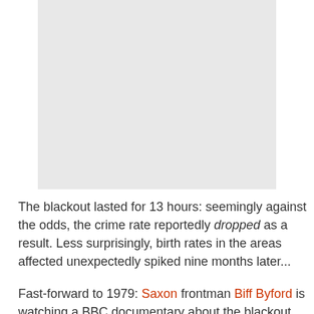[Figure (photo): Light gray rectangular image placeholder occupying the upper portion of the page]
The blackout lasted for 13 hours: seemingly against the odds, the crime rate reportedly dropped as a result. Less surprisingly, birth rates in the areas affected unexpectedly spiked nine months later...
Fast-forward to 1979: Saxon frontman Biff Byford is watching a BBC documentary about the blackout